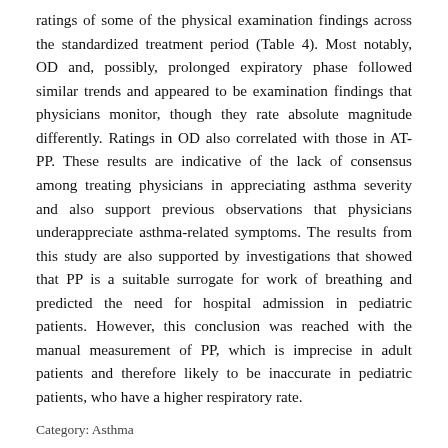ratings of some of the physical examination findings across the standardized treatment period (Table 4). Most notably, OD and, possibly, prolonged expiratory phase followed similar trends and appeared to be examination findings that physicians monitor, though they rate absolute magnitude differently. Ratings in OD also correlated with those in AT-PP. These results are indicative of the lack of consensus among treating physicians in appreciating asthma severity and also support previous observations that physicians underappreciate asthma-related symptoms. The results from this study are also supported by investigations that showed that PP is a suitable surrogate for work of breathing and predicted the need for hospital admission in pediatric patients. However, this conclusion was reached with the manual measurement of PP, which is imprecise in adult patients and therefore likely to be inaccurate in pediatric patients, who have a higher respiratory rate.
Category: Asthma